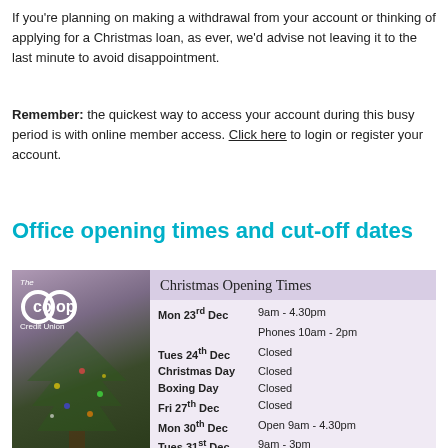If you're planning on making a withdrawal from your account or thinking of applying for a Christmas loan, as ever, we'd advise not leaving it to the last minute to avoid disappointment.
Remember: the quickest way to access your account during this busy period is with online member access. Click here to login or register your account.
Office opening times and cut-off dates
[Figure (infographic): The Co-op Credit Union Christmas Opening Times infographic. Left side shows a Christmas tree photo with the Co-op Credit Union logo. Right side lists opening times: Mon 23rd Dec: 9am - 4.30pm, Phones 10am - 2pm; Tues 24th Dec: Closed; Christmas Day: Closed; Boxing Day: Closed; Fri 27th Dec: Closed; Mon 30th Dec: Open 9am - 4.30pm; Tues 31st Dec: 9am - 3pm]